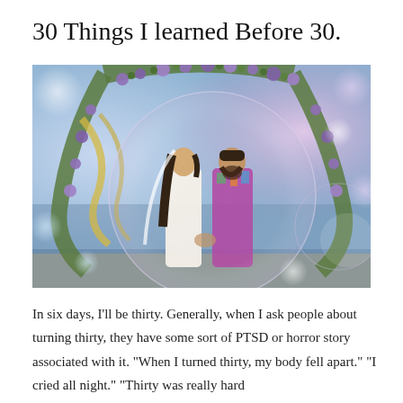30 Things I learned Before 30.
[Figure (photo): A couple standing face-to-face outdoors near a beach, framed by a floral arch decorated with purple flowers and greenery. The woman wears a white dress and veil with long dark hair; the man wears a colorful tropical shirt and has a beard. The image has a dreamy bokeh background with soft pink and blue tones and overlapping soap-bubble-like circular overlays.]
In six days, I'll be thirty. Generally, when I ask people about turning thirty, they have some sort of PTSD or horror story associated with it. "When I turned thirty, my body fell apart." "I cried all night." "Thirty was really hard